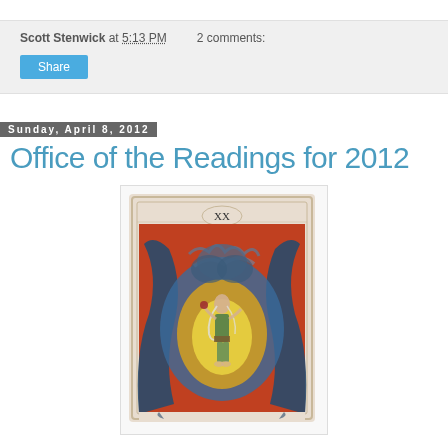Scott Stenwick at 5:13 PM   2 comments:
Share
Sunday, April 8, 2012
Office of the Readings for 2012
[Figure (illustration): Tarot card XX (twenty) showing a mystical figure seated in the center surrounded by a large circular aura of yellow, orange, and blue colors, with dark blue serpentine creatures curling around the edges against an orange-red background. The card has a decorative border and the Roman numeral XX at the top.]